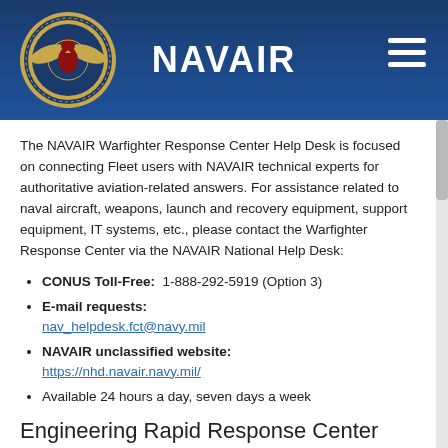NAVAIR
The NAVAIR Warfighter Response Center Help Desk is focused on connecting Fleet users with NAVAIR technical experts for authoritative aviation-related answers. For assistance related to naval aircraft, weapons, launch and recovery equipment, support equipment, IT systems, etc., please contact the Warfighter Response Center via the NAVAIR National Help Desk:
CONUS Toll-Free: 1-888-292-5919 (Option 3)
E-mail requests: nav_helpdesk.fct@navy.mil
NAVAIR unclassified website: https://nhd.navair.navy.mil/
Available 24 hours a day, seven days a week
Engineering Rapid Response Center (ERRC)